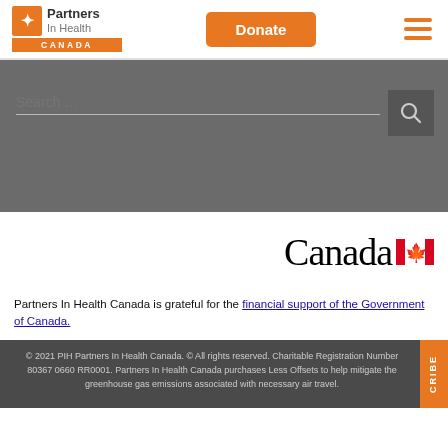Partners In Health Canada — Header with logo, Donate button, and hamburger menu
[Figure (logo): Partners In Health Canada logo with orange 'CANADA' bar]
[Figure (screenshot): Search bar on grey background with search button]
[Figure (logo): Canada wordmark with maple leaf flag]
Partners In Health Canada is grateful for the financial support of the Government of Canada.
© 2021 PIH Partners In Health Canada. © All rights reserved. Charitable Registration Number 80367 0660 RR0001. Partners In Health Canada purchases Less Offsets to help mitigate the greenhouse gas emissions associated with necessary air travel.